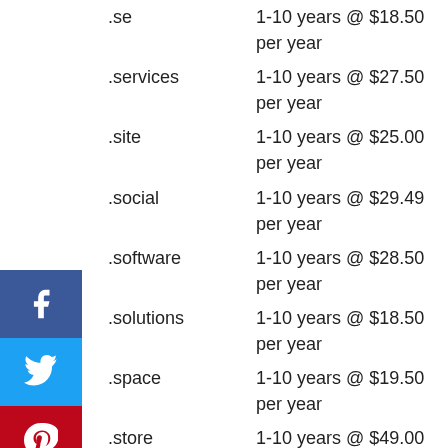.se   1-10 years @ $18.50 per year
.services   1-10 years @ $27.50 per year
.site   1-10 years @ $25.00 per year
.social   1-10 years @ $29.49 per year
.software   1-10 years @ $28.50 per year
.solutions   1-10 years @ $18.50 per year
.space   1-10 years @ $19.50 per year
.store   1-10 years @ $49.00 per year
.support   1-10 years @ $19.99 per year
.systems   1-10 years @ $19.50 per year
.team   1-10 years @ $29.49 per year
.tech   1-10 years @ $44.00 per year
.technology   1-10 years @ $19.50 per year
.today   1-10 years @ $19.99 per year
.top   1-10 years @ $14.00 per year
.tv   1-10 years @ $35.50 per year